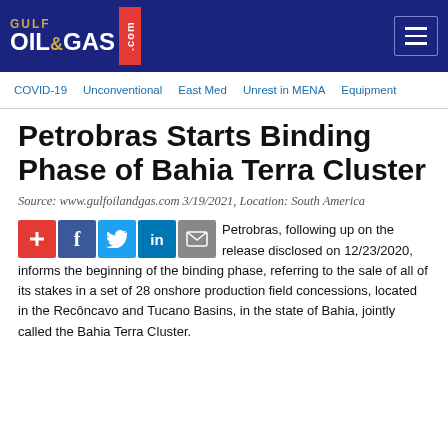GULF OIL&GAS .com
COVID-19  Unconventional  East Med  Unrest in MENA  Equipment
Petrobras Starts Binding Phase of Bahia Terra Cluster
Source: www.gulfoilandgas.com 3/19/2021, Location: South America
Petrobras, following up on the release disclosed on 12/23/2020, informs the beginning of the binding phase, referring to the sale of all of its stakes in a set of 28 onshore production field concessions, located in the Recôncavo and Tucano Basins, in the state of Bahia, jointly called the Bahia Terra Cluster.